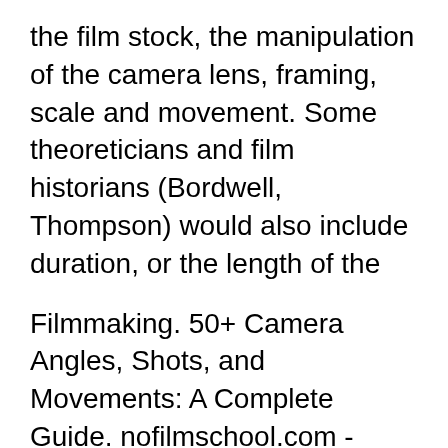the film stock, the manipulation of the camera lens, framing, scale and movement. Some theoreticians and film historians (Bordwell, Thompson) would also include duration, or the length of the
Filmmaking. 50+ Camera Angles, Shots, and Movements: A Complete Guide. nofilmschool.com - Jason Hellerman. Have you ever been overwhelmed at the possibility of every camera angle, framing, and shot type available as a filmmaker? Shot Types. There is a convention in the video, film and television industries which assigns names and guidelines to common types of shots, framing and picture